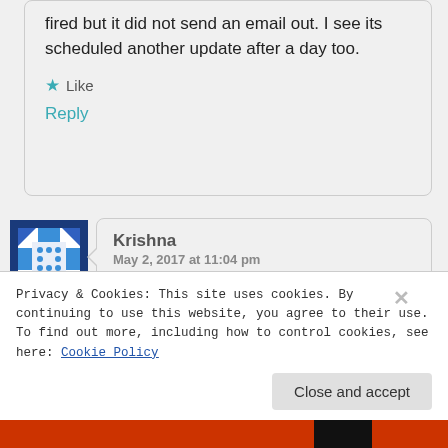fired but it did not send an email out. I see its scheduled another update after a day too.
★ Like
Reply
[Figure (illustration): Avatar icon with blue geometric pattern]
Krishna
May 2, 2017 at 11:04 pm
Neel,
Privacy & Cookies: This site uses cookies. By continuing to use this website, you agree to their use.
To find out more, including how to control cookies, see here: Cookie Policy
Close and accept